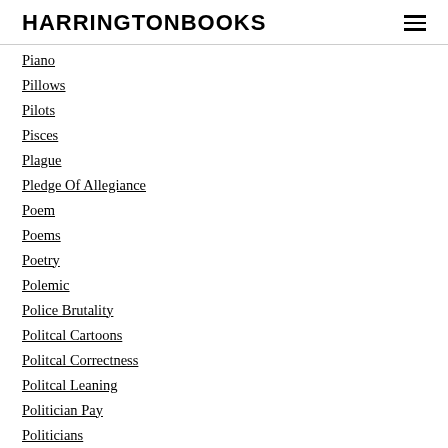HARRINGTONBOOKS
Piano
Pillows
Pilots
Pisces
Plague
Pledge Of Allegiance
Poem
Poems
Poetry
Polemic
Police Brutality
Politcal Cartoons
Politcal Correctness
Politcal Leaning
Politician Pay
Politicians
Politics